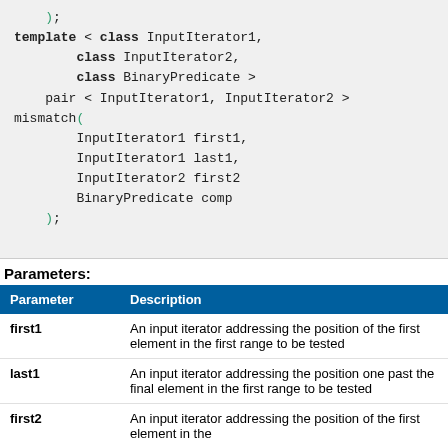template < class InputIterator1,
        class InputIterator2,
        class BinaryPredicate >
    pair < InputIterator1, InputIterator2 >
mismatch(
        InputIterator1 first1,
        InputIterator1 last1,
        InputIterator2 first2
        BinaryPredicate comp
    );
Parameters:
| Parameter | Description |
| --- | --- |
| first1 | An input iterator addressing the position of the first element in the first range to be tested |
| last1 | An input iterator addressing the position one past the final element in the first range to be tested |
| first2 | An input iterator addressing the position of the first element in the |